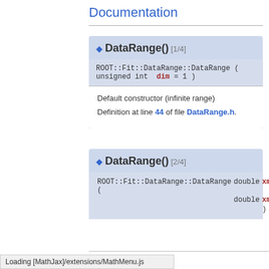Documentation
ROOT::Fit::DataRange::DataRange ( unsigned int  dim = 1 )
◆ DataRange() [1/4]
Default constructor (infinite range)
Definition at line 44 of file DataRange.h.
◆ DataRange() [2/4]
ROOT::Fit::DataRange::DataRange ( double xmin, double xmax )
[xmin, xmax]
Loading [MathJax]/extensions/MathMenu.js